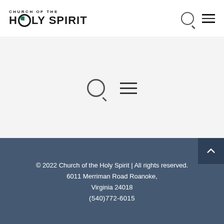CHURCH OF THE HOLY SPIRIT
[Figure (screenshot): Middle section with search and menu icons on light grey background]
© 2022 Church of the Holy Spirit | All rights reserved.
6011 Merriman Road Roanoke, Virginia 24018
(540)772-6015